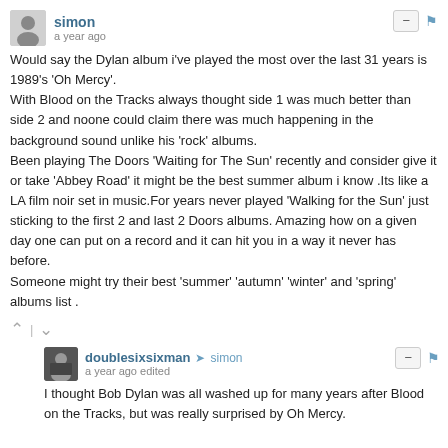simon — a year ago
Would say the Dylan album i've played the most over the last 31 years is 1989's 'Oh Mercy'.
With Blood on the Tracks always thought side 1 was much better than side 2 and noone could claim there was much happening in the background sound unlike his 'rock' albums.
Been playing The Doors 'Waiting for The Sun' recently and consider give it or take 'Abbey Road' it might be the best summer album i know .Its like a LA film noir set in music.For years never played 'Walking for the Sun' just sticking to the first 2 and last 2 Doors albums. Amazing how on a given day one can put on a record and it can hit you in a way it never has before.
Someone might try their best 'summer' 'autumn' 'winter' and 'spring' albums list .
doublesixsixman → simon — a year ago edited
I thought Bob Dylan was all washed up for many years after Blood on the Tracks, but was really surprised by Oh Mercy.